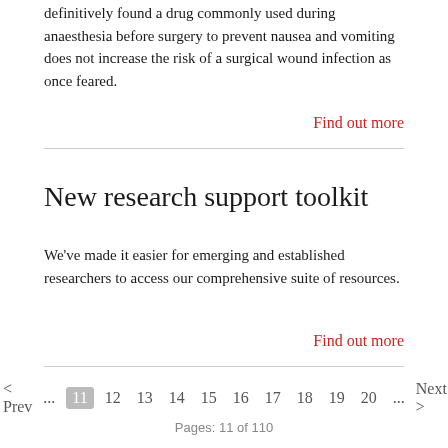definitively found a drug commonly used during anaesthesia before surgery to prevent nausea and vomiting does not increase the risk of a surgical wound infection as once feared.
Find out more
New research support toolkit
We've made it easier for emerging and established researchers to access our comprehensive suite of resources.
Find out more
First  < Prev  ...  11  12  13  14  15  16  17  18  19  20  ...  Next >  Last
Pages: 11 of 110